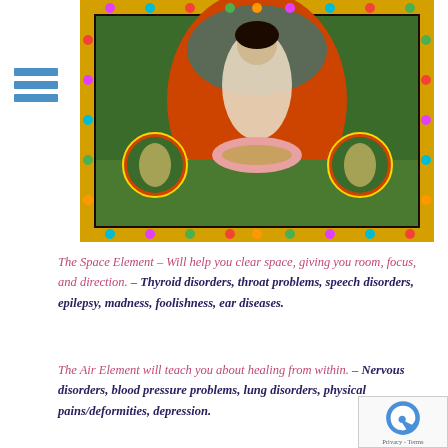[Figure (illustration): Tibetan thangka painting of a deity (likely Vajravarahi or a similar wrathful goddess) dancing above a corpse on a lotus, surrounded by clouds, mountains, and smaller deity figures in medallions, with an ornate jeweled border.]
The Space Element – Will help you clear space, giving you room, focus, and direction. – Thyroid disorders, throat problems, speech disorders, epilepsy, madness, foolishness, ear diseases.
The Air Element will teach you about healing from within. – Nervous disorders, blood pressure problems, lung disorders, physical pains/deformities, depression.